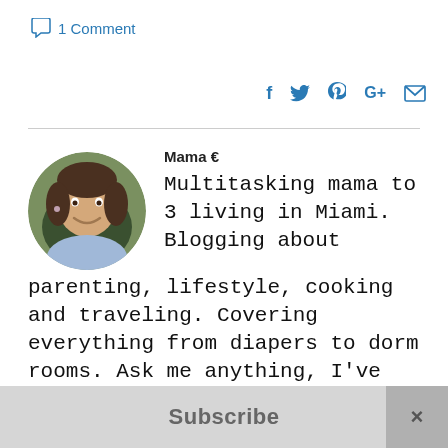1 Comment
[Figure (illustration): Social sharing icons: Facebook (f), Twitter (bird), Pinterest (P), Google+ (G+), Email (envelope) in blue]
[Figure (photo): Circular avatar photo of a smiling woman with dark hair, wearing earrings, in a car or similar setting]
Mama €
Multitasking mama to 3 living in Miami. Blogging about parenting, lifestyle, cooking and traveling. Covering everything from diapers to dorm rooms. Ask me anything, I've done it all.
Subscribe
×